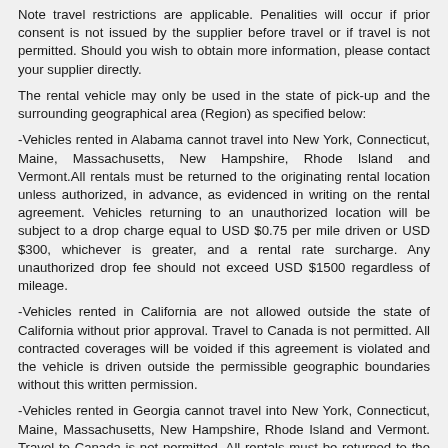Note travel restrictions are applicable. Penalities will occur if prior consent is not issued by the supplier before travel or if travel is not permitted. Should you wish to obtain more information, please contact your supplier directly.
The rental vehicle may only be used in the state of pick-up and the surrounding geographical area (Region) as specified below:
-Vehicles rented in Alabama cannot travel into New York, Connecticut, Maine, Massachusetts, New Hampshire, Rhode Island and Vermont.All rentals must be returned to the originating rental location unless authorized, in advance, as evidenced in writing on the rental agreement. Vehicles returning to an unauthorized location will be subject to a drop charge equal to USD $0.75 per mile driven or USD $300, whichever is greater, and a rental rate surcharge. Any unauthorized drop fee should not exceed USD $1500 regardless of mileage.
-Vehicles rented in California are not allowed outside the state of California without prior approval. Travel to Canada is not permitted. All contracted coverages will be voided if this agreement is violated and the vehicle is driven outside the permissible geographic boundaries without this written permission.
-Vehicles rented in Georgia cannot travel into New York, Connecticut, Maine, Massachusetts, New Hampshire, Rhode Island and Vermont. Travel to Canada is not permitted. All rentals must be returned to the originating rental location unless authorized, in advance, as evidenced in writing on the rental agreement. Vehicles returning to an unauthorized location will be subject to a drop charge equal to USD $0.75 per mile driven or USD $300, whichever is greater, and a rental rate surcharge. Any unauthorized drop fee should not exceed USD $1500 regardless of mileage. Based on availability, one-way rentals may be allowed to some U.S. cities.